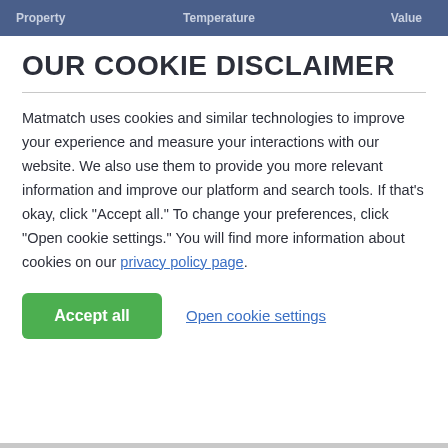Property   Temperature   Value
OUR COOKIE DISCLAIMER
Matmatch uses cookies and similar technologies to improve your experience and measure your interactions with our website. We also use them to provide you more relevant information and improve our platform and search tools. If that’s okay, click “Accept all.” To change your preferences, click “Open cookie settings.” You will find more information about cookies on our privacy policy page.
Accept all
Open cookie settings